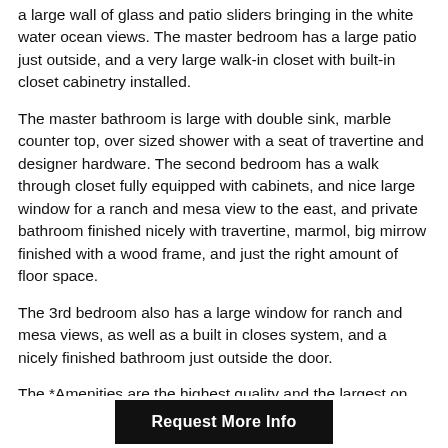a large wall of glass and patio sliders bringing in the white water ocean views. The master bedroom has a large patio just outside, and a very large walk-in closet with built-in closet cabinetry installed.
The master bathroom is large with double sink, marble counter top, over sized shower with a seat of travertine and designer hardware. The second bedroom has a walk through closet fully equipped with cabinets, and nice large window for a ranch and mesa view to the east, and private bathroom finished nicely with travertine, marmol, big mirrow finished with a wood frame, and just the right amount of floor space.
The 3rd bedroom also has a large window for ranch and mesa views, as well as a built in closes system, and a nicely finished bathroom just outside the door.
The *Amenities are the highest quality and the largest on the coast. The indoor swimming pool in the tall glass atrium is a show piece and is one of the best covered spaces on the coast. The pool is semi-Olympic sized and has a full granite bottom and granite
Request More Info